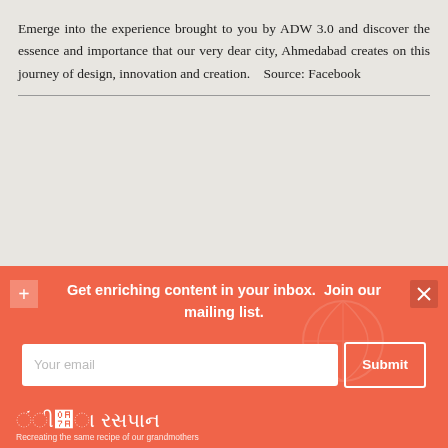Emerge into the experience brought to you by ADW 3.0 and discover the essence and importance that our very dear city, Ahmedabad creates on this journey of design, innovation and creation.   Source: Facebook
[Figure (logo): Culture section header with italic 'Culture' text and a line-art illustration of a tower/lamp post structure]
Get enriching content in your inbox.  Join our mailing list.